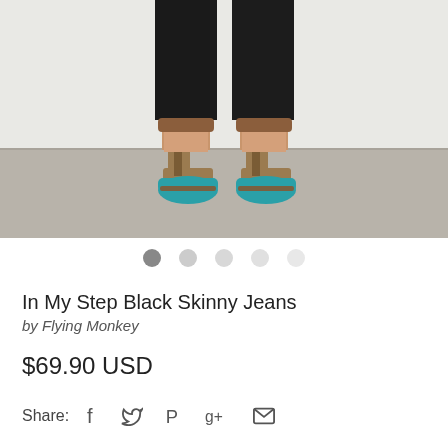[Figure (photo): Photo of a person wearing teal/turquoise platform heels with brown ankle straps and black skinny jeans, shown from the knees down, standing on a concrete floor against a white wall.]
● ○ ○ ○ ○ (image carousel dots, 5 dots, first selected)
In My Step Black Skinny Jeans
by Flying Monkey
$69.90 USD
Share:  f  t  p  g+  ✉